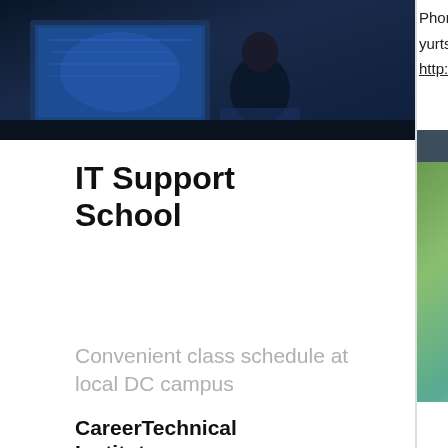[Figure (photo): Dark blue-toned photo of a person working at a computer/monitor in a technical environment]
IT Support School
Convenient class schedule at local DC campus
CareerTechnical Institute
Phone: (888) 494-5846
yurts@orcaislandcabins.com
http://www.orcaislandcabins.com
[Figure (illustration): Colorful painting/illustration with surrealist style figures, partial view]
Jules◆ Und
Kokopelli's
Winvian Re
Heceta Hea
Queen Mary
Just email us a 2-4 p and if we
PetVR.com